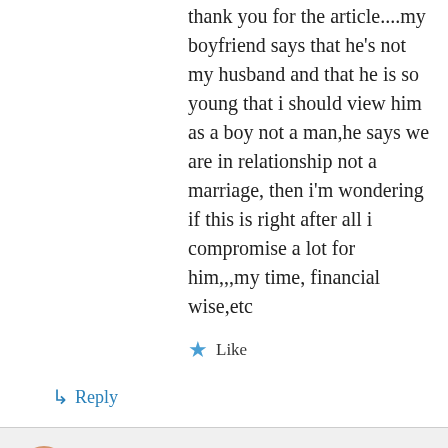thank you for the article....my boyfriend says that he's not my husband and that he is so young that i should view him as a boy not a man,he says we are in relationship not a marriage, then i'm wondering if this is right after all i compromise a lot for him,,,my time, financial wise,etc
Like
↳ Reply
Dee's Dating Diary on October 2, 2016 at 10:35 pm
You should take your boyfriend's words to heart. Save the financial assistance for your future husband and you definitely